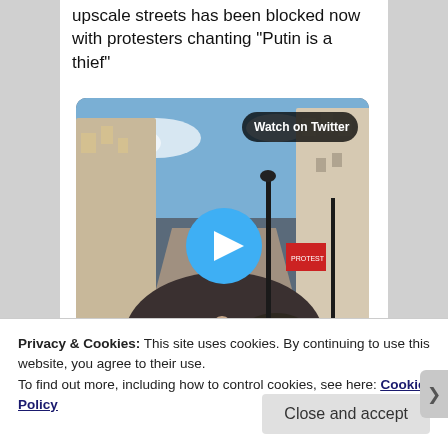upscale streets has been blocked now with protesters chanting “Putin is a thief”
[Figure (screenshot): Embedded Twitter video thumbnail showing a street protest crowd with a 'Watch on Twitter' badge and a play button overlay]
Privacy & Cookies: This site uses cookies. By continuing to use this website, you agree to their use.
To find out more, including how to control cookies, see here: Cookie Policy
Close and accept